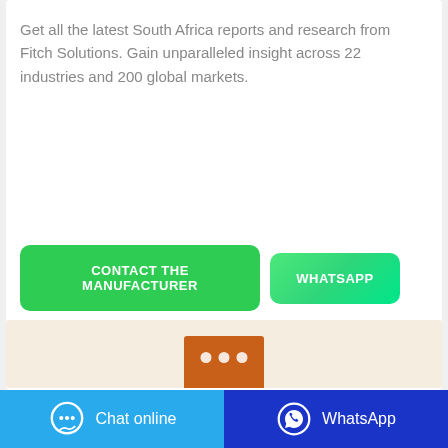Get all the latest South Africa reports and research from Fitch Solutions. Gain unparalleled insight across 22 industries and 200 global markets.
[Figure (other): Green button labeled CONTACT THE MANUFACTURER]
[Figure (other): Green button labeled WHATSAPP]
[Figure (photo): Product image showing an orange/brown device with three white circular dots on a light beige background]
[Figure (other): Footer bar with two buttons: Chat online (blue) and WhatsApp (dark blue) with icons]